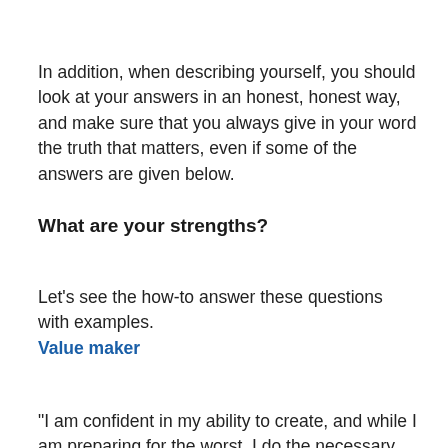In addition, when describing yourself, you should look at your answers in an honest, honest way, and make sure that you always give in your word the truth that matters, even if some of the answers are given below.
What are your strengths?
Let's see the how-to answer these questions with examples.
Value maker
"I am confident in my ability to create, and while I am preparing for the worst, I do the necessary work to reduce the likelihood that the best will